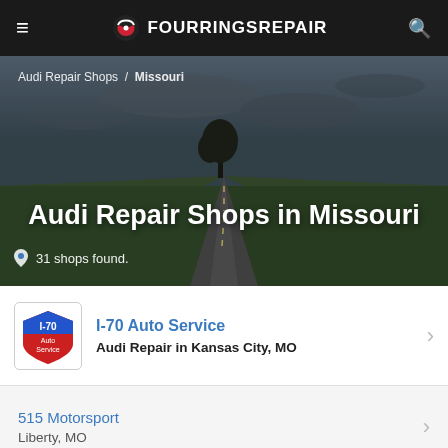FOURRINGSREPAIR
Audi Repair Shops / Missouri
Audi Repair Shops in Missouri
31 shops found.
I-70 Auto Service — Audi Repair in Kansas City, MO
515 Motorsport — Liberty, MO
Autos of Europe — Manchester, MO